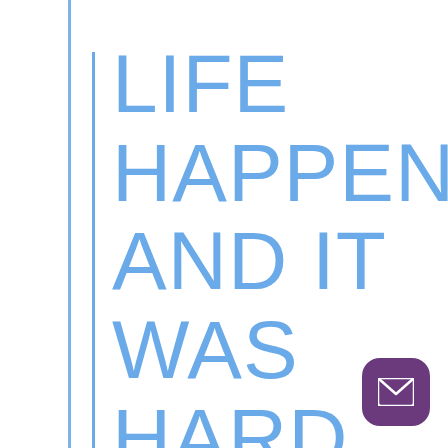LIFE HAPPENED, AND IT WAS HARD TO
[Figure (illustration): Purple rounded square button with white envelope/mail icon in the bottom right corner]